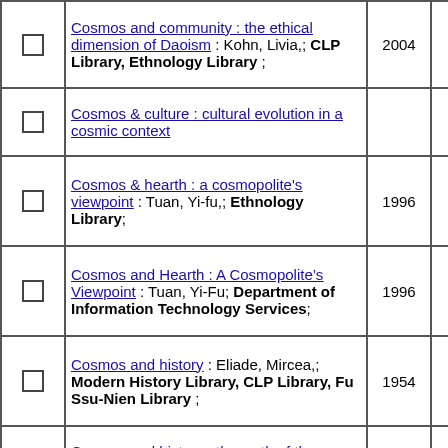|  | Title / Author / Library | Year | Count |
| --- | --- | --- | --- |
| ☐ | Cosmos and community : the ethical dimension of Daoism : Kohn, Livia,; CLP Library, Ethnology Library ; | 2004 | 1 |
| ☐ | Cosmos & culture : cultural evolution in a cosmic context |  | 2 |
| ☐ | Cosmos & hearth : a cosmopolite's viewpoint : Tuan, Yi-fu,; Ethnology Library; | 1996 | 1 |
| ☐ | Cosmos and Hearth : A Cosmopolite's Viewpoint : Tuan, Yi-Fu; Department of Information Technology Services; | 1996 | 1 |
| ☐ | Cosmos and history : Eliade, Mircea,; Modern History Library, CLP Library, Fu Ssu-Nien Library ; | 1954 | 1 |
| ☐ | Cosmos and history : the myth of the eternal return |  | 2 |
| ☐ | Cosmos and Logos : studies in Greek philosophy : Rescher, Nicholas; CLP Library; | 2005 | 1 |
| ☐ | Cosmos and Logos - Studies in Greek Philosophy : Studies in Greek Philosophy : Rescher, Nicholas; Department of Information Technology Services; | 2013 | 1 |